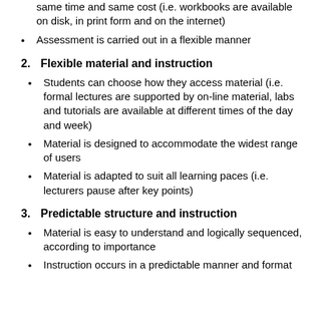same time and same cost (i.e. workbooks are available on disk, in print form and on the internet)
Assessment is carried out in a flexible manner
2.  Flexible material and instruction
Students can choose how they access material (i.e. formal lectures are supported by on-line material, labs and tutorials are available at different times of the day and week)
Material is designed to accommodate the widest range of users
Material is adapted to suit all learning paces (i.e. lecturers pause after key points)
3.  Predictable structure and instruction
Material is easy to understand and logically sequenced, according to importance
Instruction occurs in a predictable manner and format